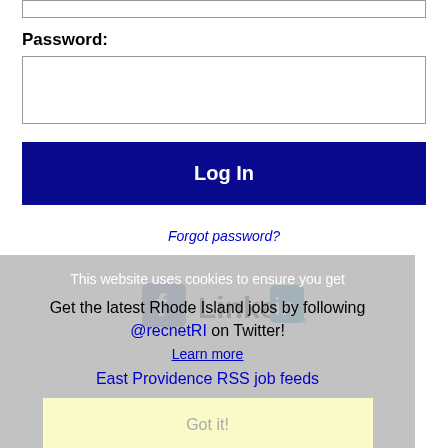Password:
Log In
Forgot password?
[Figure (logo): Facebook and LinkedIn social media icons]
This website uses cookies to ensure you get
Get the latest Rhode Island jobs by following @recnetRI on Twitter!
Learn more
East Providence RSS job feeds
Got it!